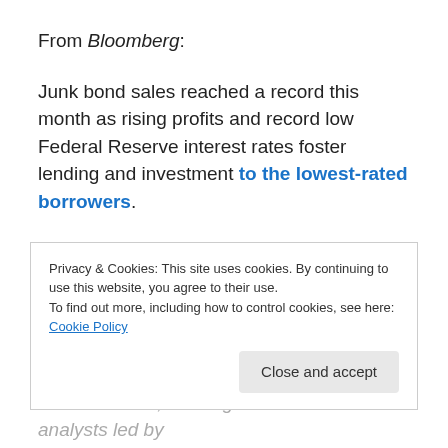From Bloomberg:
Junk bond sales reached a record this month as rising profits and record low Federal Reserve interest rates foster lending and investment to the lowest-rated borrowers.
Companies worldwide issued $38.3 billion of junk bonds this month, passing the previous high of $36 billion in November 2006, according to data compiled by Bloomberg. Yields fell 0.95 percentage point this month to
Privacy & Cookies: This site uses cookies. By continuing to use this website, you agree to their use.
To find out more, including how to control cookies, see here: Cookie Policy
credit markets, JPMorgan Chase & Co. analysts led by